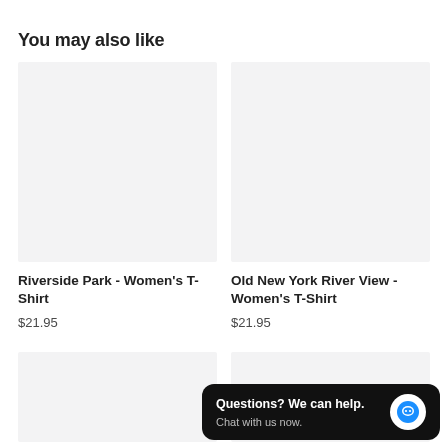You may also like
[Figure (photo): Empty product image placeholder for Riverside Park Women's T-Shirt]
Riverside Park - Women's T-Shirt
$21.95
[Figure (photo): Empty product image placeholder for Old New York River View Women's T-Shirt]
Old New York River View - Women's T-Shirt
$21.95
[Figure (photo): Empty product image placeholder bottom left]
[Figure (photo): Empty product image placeholder bottom right]
Questions? We can help. Chat with us now.